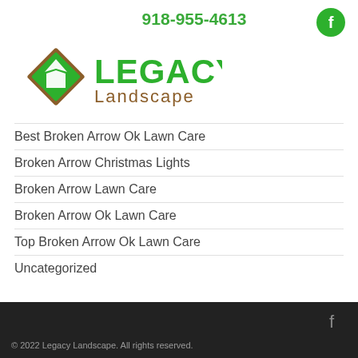918-955-4613
[Figure (logo): Legacy Landscape logo with diamond/arrow icon in green and brown, with 'LEGACY' in green bold text and 'Landscape' in brown text below]
Best Broken Arrow Ok Lawn Care
Broken Arrow Christmas Lights
Broken Arrow Lawn Care
Broken Arrow Ok Lawn Care
Top Broken Arrow Ok Lawn Care
Uncategorized
© 2022 Legacy Landscape. All rights reserved.